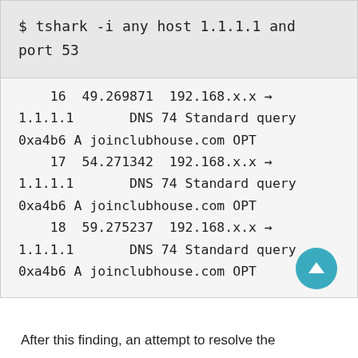$ tshark -i any host 1.1.1.1 and port 53
16  49.269871  192.168.x.x → 1.1.1.1      DNS 74 Standard query 0xa4b6 A joinclubhouse.com OPT
    17  54.271342  192.168.x.x → 1.1.1.1      DNS 74 Standard query 0xa4b6 A joinclubhouse.com OPT
    18  59.275237  192.168.x.x → 1.1.1.1      DNS 74 Standard query 0xa4b6 A joinclubhouse.com OPT
After this finding, an attempt to resolve the